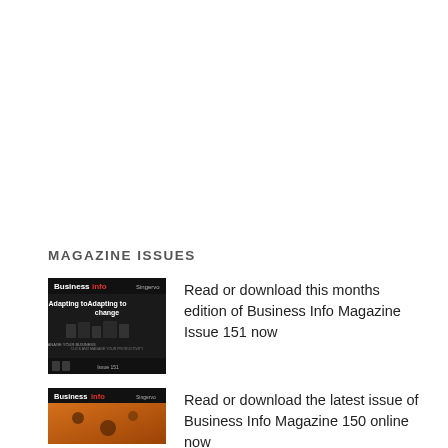MAGAZINE ISSUES
[Figure (illustration): Cover of Business Info Magazine Issue 151, dark background with cameras/office equipment, titled 'Adapting to change']
Read or download this months edition of Business Info Magazine Issue 151 now
[Figure (illustration): Cover of Business Info Magazine Issue 150, orange/amber background, Business Info branding]
Read or download the latest issue of Business Info Magazine 150 online now